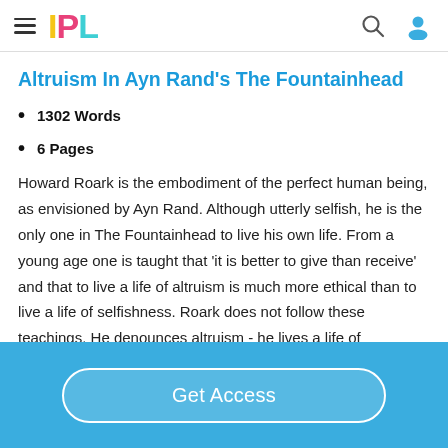IPL
Altruism In Ayn Rand's The Fountainhead
1302 Words
6 Pages
Howard Roark is the embodiment of the perfect human being, as envisioned by Ayn Rand. Although utterly selfish, he is the only one in The Fountainhead to live his own life. From a young age one is taught that 'it is better to give than receive' and that to live a life of altruism is much more ethical than to live a life of selfishness. Roark does not follow these teachings. He denounces altruism - he lives a life of independent thinking which is not tainted by the
Get Access